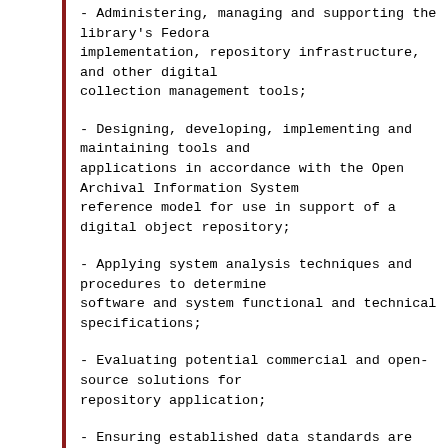- Administering, managing and supporting the library's Fedora implementation, repository infrastructure, and other digital collection management tools;
- Designing, developing, implementing and maintaining tools and applications in accordance with the Open Archival Information System reference model for use in support of a digital object repository;
- Applying system analysis techniques and procedures to determine software and system functional and technical specifications;
- Evaluating potential commercial and open-source solutions for repository application;
- Ensuring established data standards are ...